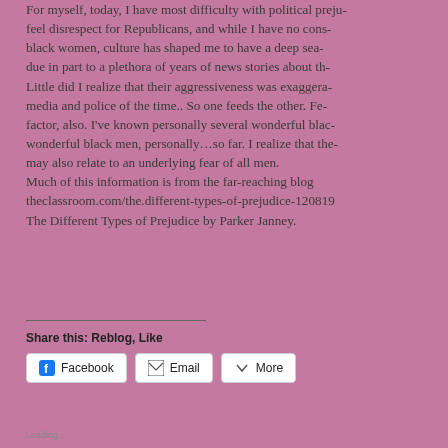For myself, today, I have most difficulty with political preju- feel disrespect for Republicans, and while I have no cons- black women, culture has shaped me to have a deep sea- due in part to a plethora of years of news stories about th- Little did I realize that their aggressiveness was exaggera- media and police of the time.. So one feeds the other. Fe- factor, also. I've known personally several wonderful blac- wonderful black men, personally…so far. I realize that the- may also relate to an underlying fear of all men. Much of this information is from the far-reaching blog theclassroom.com/the.different-types-of-prejudice-120819 The Different Types of Prejudice by Parker Janney.
Share this: Reblog, Like
[Figure (other): Share buttons: Facebook, Email, More]